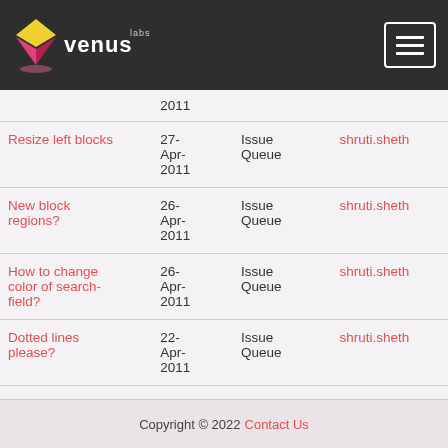Venus Labs
| Title | Date | Type | User |
| --- | --- | --- | --- |
|  | 2011 |  |  |
| Resize left blocks | 27-Apr-2011 | Issue Queue | shruti.sheth |
| New block regions? | 26-Apr-2011 | Issue Queue | shruti.sheth |
| How to change color of search-field? | 26-Apr-2011 | Issue Queue | shruti.sheth |
| Dotted lines please? | 22-Apr-2011 | Issue Queue | shruti.sheth |
| Above Content | 22- | Issue | shruti.sheth |
Copyright © 2022 Contact Us